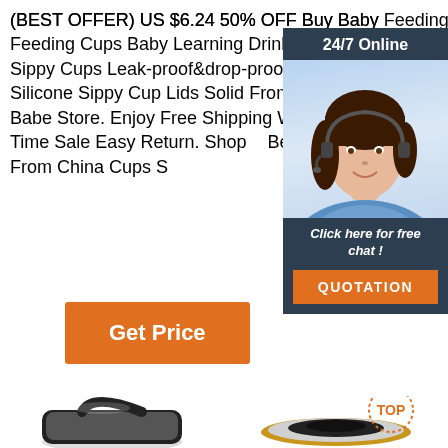(BEST OFFER) US $6.24 50% OFF Buy Baby Feeding Cups Baby Learning Drinkware Silicone Sippy Cups Leak-proof&drop-proof Toddlers Kids Silicone Sippy Cup Lids Solid From Seller Shiny Babe Store. Enjoy Free Shipping Worldwide! Limited Time Sale Easy Return. Shop Quality & Best Cups Directly From China Cups Suppliers.
[Figure (infographic): Customer service chat widget showing 24/7 Online label, female agent with headset, Click here for free chat! text, and QUOTATION button]
[Figure (other): Orange Get Price button]
[Figure (photo): Product photos at the bottom showing two cup/drinkware products, one on left with handle, one on right with TOP label]